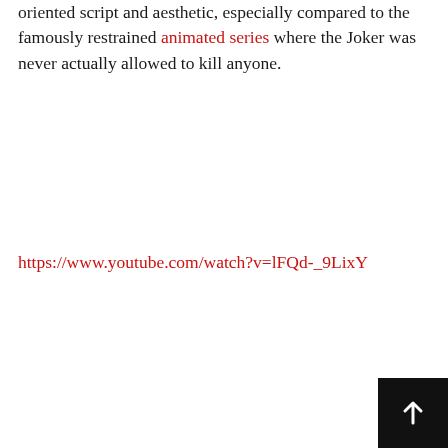oriented script and aesthetic, especially compared to the famously restrained animated series where the Joker was never actually allowed to kill anyone.
https://www.youtube.com/watch?v=lFQd-_9LixY